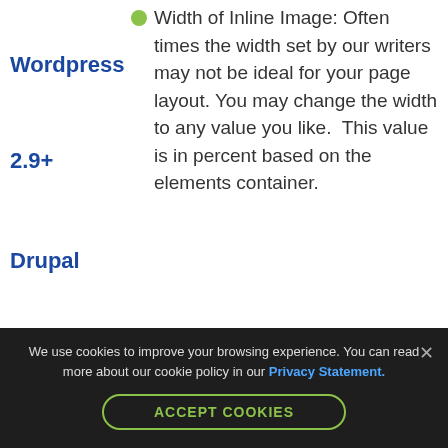Width of Inline Image: Often times the width set by our writers may not be ideal for your page layout. You may change the width to any value you like.  This value is in percent based on the elements container.
Inline Image Float: The default
Wordpress
2.9+
Drupal
V6.x
V7.x
V8.x
Joomla!
We use cookies to improve your browsing experience. You can read more about our cookie policy in our Privacy Statement.